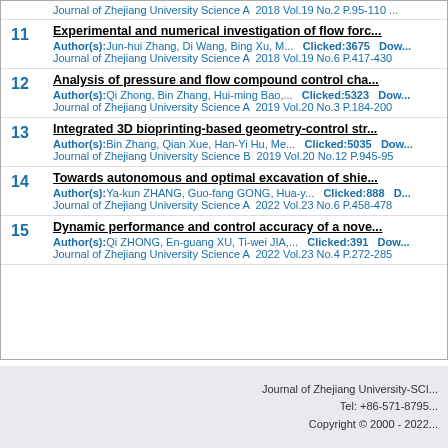Journal of Zhejiang University Science A  2018 Vol.19 No.2 P.95-110
11 Experimental and numerical investigation of flow forc... Author(s):Jun-hui Zhang, Di Wang, Bing Xu, M...  Clicked:3675  Dow... Journal of Zhejiang University Science A  2018 Vol.19 No.6 P.417-430
12 Analysis of pressure and flow compound control cha... Author(s):Qi Zhong, Bin Zhang, Hui-ming Bao,...  Clicked:5323  Dow... Journal of Zhejiang University Science A  2019 Vol.20 No.3 P.184-200
13 Integrated 3D bioprinting-based geometry-control str... Author(s):Bin Zhang, Qian Xue, Han-Yi Hu, Me...  Clicked:5035  Dow... Journal of Zhejiang University Science B  2019 Vol.20 No.12 P.945-95
14 Towards autonomous and optimal excavation of shie... Author(s):Ya-kun ZHANG, Guo-fang GONG, Hua-y...  Clicked:888  D... Journal of Zhejiang University Science A  2022 Vol.23 No.6 P.458-478
15 Dynamic performance and control accuracy of a nove... Author(s):Qi ZHONG, En-guang XU, Ti-wei JIA,...  Clicked:391  Dow... Journal of Zhejiang University Science A  2022 Vol.23 No.4 P.272-285
Journal of Zhejiang University-SCI
Tel: +86-571-8795
Copyright © 2000 - 2022